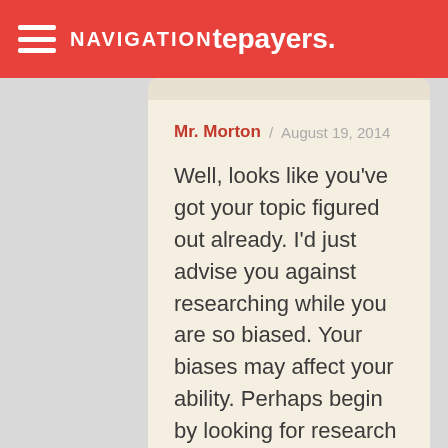NAVIGATION tepayers.
Mr. Morton / August 19, 2014

Well, looks like you've got your topic figured out already. I'd just advise you against researching while you are so biased. Your biases may affect your ability. Perhaps begin by looking for research about problems with the